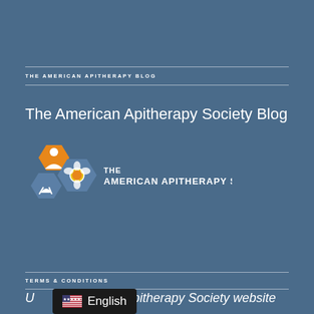THE AMERICAN APITHERAPY BLOG
The American Apitherapy Society Blog
[Figure (logo): The American Apitherapy Society Inc. logo with hexagonal bee-themed icons in orange and blue, with bold text reading THE AMERICAN APITHERAPY SOCIETY INC.]
TERMS & CONDITIONS
U[se of the Ame]rican Apitherapy Society website